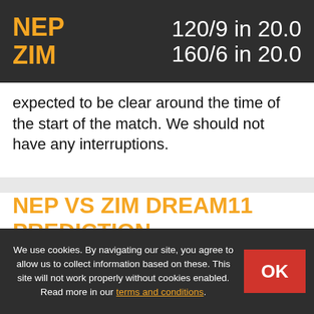NEP 120/9 in 20.0 | ZIM 160/6 in 20.0
expected to be clear around the time of the start of the match. We should not have any interruptions.
NEP VS ZIM DREAM11 PREDICTION
Nepal and Zimbabwe have been slugging it out pretty evenly in Singapore. The short boundaries and the fact that the batsmen are getting used to the pace of wicket means that a lot of runs could
We use cookies. By navigating our site, you agree to allow us to collect information based on these. This site will not work properly without cookies enabled. Read more in our terms and conditions.